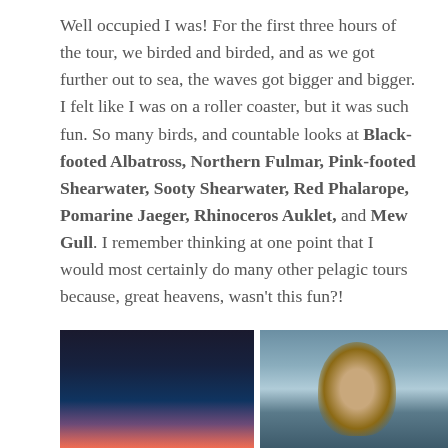Well occupied I was! For the first three hours of the tour, we birded and birded, and as we got further out to sea, the waves got bigger and bigger. I felt like I was on a roller coaster, but it was such fun. So many birds, and countable looks at Black-footed Albatross, Northern Fulmar, Pink-footed Shearwater, Sooty Shearwater, Red Phalarope, Pomarine Jaeger, Rhinoceros Auklet, and Mew Gull. I remember thinking at one point that I would most certainly do many other pelagic tours because, great heavens, wasn't this fun?!
[Figure (photo): Three photographs in a row: (1) a dark nighttime harbor scene with people and boats illuminated by warm lights, (2) a person wearing a knit hat on a boat with water and hills in the background, (3) a partially visible harbor/dock scene with boats and hills.]